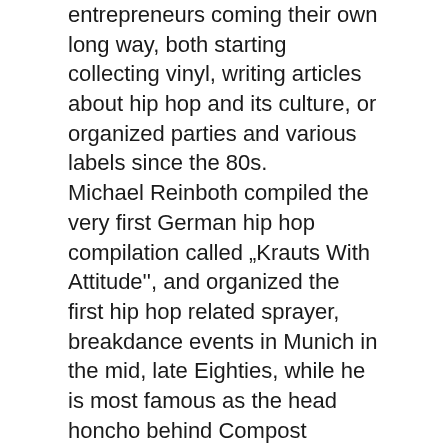entrepreneurs coming their own long way, both starting collecting vinyl, writing articles about hip hop and its culture, or organized parties and various labels since the 80s. Michael Reinboth compiled the very first German hip hop compilation called „Krauts With Attitude'', and organized the first hip hop related sprayer, breakdance events in Munich in the mid, late Eighties, while he is most famous as the head honcho behind Compost Records and a few associated subsidiary labels for over 20 years. Michael toured the world as a DJ, lector at Red Bull Music Academy, journalist (writing for all music mags like Groove, Spex, Jazz-Thing, Musikexpress and dozens others), produced music and remixes under various project or pseudonyms. DJ Rude Teen started djing as a 12 year old HipHop head back in 1989 in a local youth club in Munich and established himself as a sought after scratch DJ for local hip hop acts. In about 1995 he formed a production team